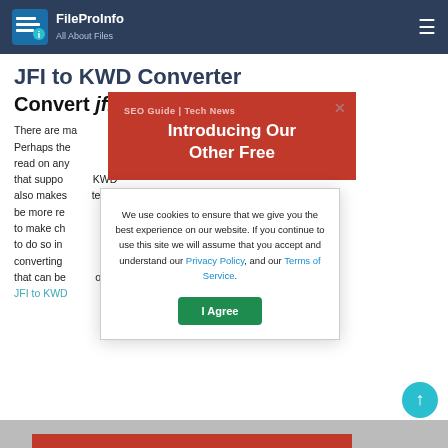FileProInfo — All About Files
JFI to KWD Converter
Convert jfi to kwd online & free
There are many reasons you might want to convert a JFI file to KWD. Perhaps the most common reason is that a KWD can be read on any platform and is not limited to devices that support JFI. KWD also makes files tend to be more reliable. If you want to make changes, it is easier to do so in KWD. Finally, converting JFI to KWD is a simple process that can be done online JFI to KWD
[Figure (screenshot): Red popup banner with text: SEO Guide | Tech News — Introducing Our Other Free, with a close (X) button]
[Figure (screenshot): Cookie consent dialog: We use cookies to ensure that we give you the best experience on our website. If you continue to use this site we will assume that you accept and understand our Privacy Policy, and our Terms of Service. With an 'I Agree' button.]